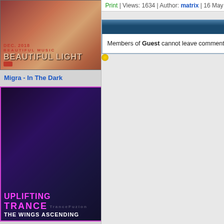[Figure (illustration): Album cover for Beautiful Light - Dec 2018, woman with red hair]
Migra - In The Dark
[Figure (illustration): Album cover for Uplifting Trance: The Wings Ascending - March 2021 Mix, woman with colorful hair]
Wynwood & Milad E - Azadi
[Figure (illustration): Album cover for Gold Party 2020 - Clubbing Trance]
Print | Views: 1634 | Author: matrix | 16 May 2016 | Co...
[Figure (screenshot): Comment section header bar - dark blue gradient]
Members of Guest cannot leave comments.